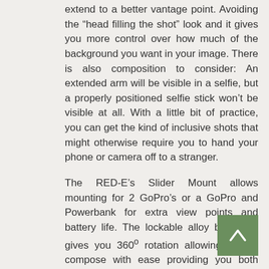extend to a better vantage point. Avoiding the “head filling the shot” look and it gives you more control over how much of the background you want in your image. There is also composition to consider: An extended arm will be visible in a selfie, but a properly positioned selfie stick won’t be visible at all. With a little bit of practice, you can get the kind of inclusive shots that might otherwise require you to hand your phone or camera off to a stranger.
The RED-E’s Slider Mount allows mounting for 2 GoPro’s or a GoPro and Powerbank for extra view points and battery life. The lockable alloy ball head gives you 360º rotation allowing you to compose with ease providing you both versatility and stability.